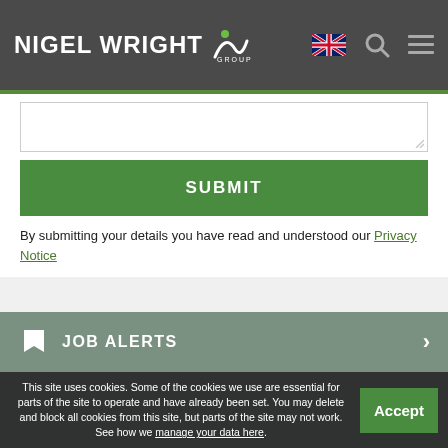NIGEL WRIGHT GROUP
[Figure (screenshot): Textarea input stub with resize handle]
SUBMIT
By submitting your details you have read and understood our Privacy Notice
JOB ALERTS
This site uses cookies. Some of the cookies we use are essential for parts of the site to operate and have already been set. You may delete and block all cookies from this site, but parts of the site may not work. See how we manage your data here.